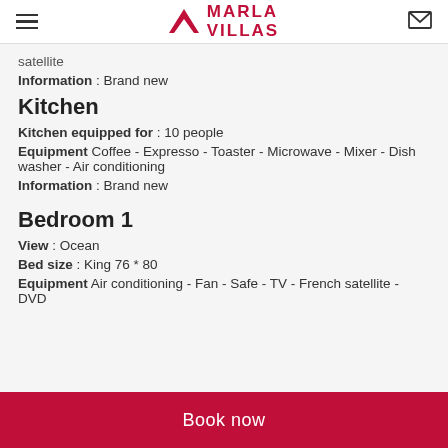Marla Villas
satellite
Information : Brand new
Kitchen
Kitchen equipped for : 10 people
Equipment Coffee - Expresso - Toaster - Microwave - Mixer - Dish washer - Air conditioning
Information : Brand new
Bedroom 1
View : Ocean
Bed size : King 76 * 80
Equipment Air conditioning - Fan - Safe - TV - French satellite - DVD
Book now